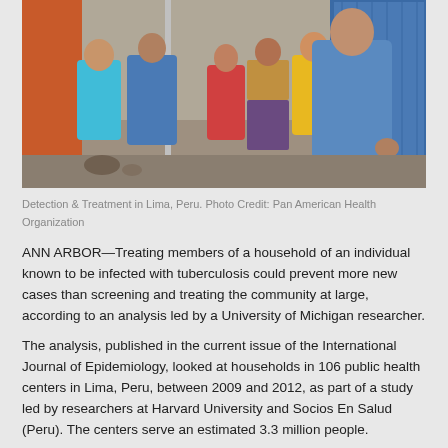[Figure (photo): Group of people outdoors in a residential area; several individuals wearing blue shirts, one in red, and one in a patterned skirt, gathered together, apparently in a health-related community setting in Lima, Peru.]
Detection & Treatment in Lima, Peru. Photo Credit: Pan American Health Organization
ANN ARBOR—Treating members of a household of an individual known to be infected with tuberculosis could prevent more new cases than screening and treating the community at large, according to an analysis led by a University of Michigan researcher.
The analysis, published in the current issue of the International Journal of Epidemiology, looked at households in 106 public health centers in Lima, Peru, between 2009 and 2012, as part of a study led by researchers at Harvard University and Socios En Salud (Peru). The centers serve an estimated 3.3 million people.